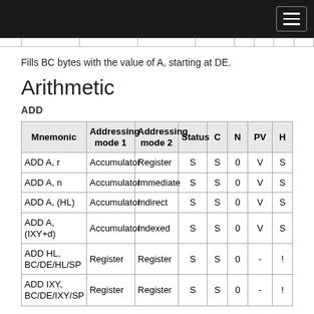[navigation bar with hamburger menu]
Fills BC bytes with the value of A, starting at DE.
Arithmetic
ADD
| Mnemonic | Addressing mode 1 | Addressing mode 2 | Status | C | N | PV | H |
| --- | --- | --- | --- | --- | --- | --- | --- |
| ADD A, r | Accumulator | Register | S | S | 0 | V | S |
| ADD A, n | Accumulator | Immediate | S | S | 0 | V | S |
| ADD A, (HL) | Accumulator | Indirect | S | S | 0 | V | S |
| ADD A, (IXY+d) | Accumulator | Indexed | S | S | 0 | V | S |
| ADD HL, BC/DE/HL/SP | Register | Register | S | S | 0 | - | ! |
| ADD IXY, BC/DE/IXY/SP | Register | Register | S | S | 0 | - | ! |